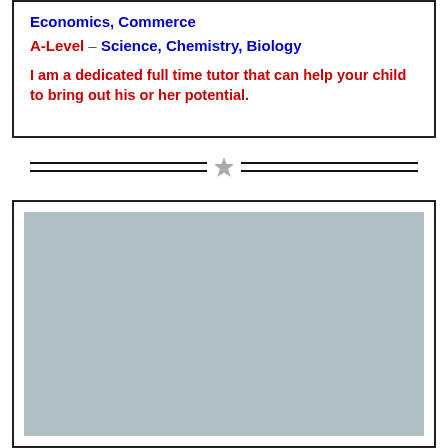Economics, Commerce
A-Level – Science, Chemistry, Biology
I am a dedicated full time tutor that can help your child to bring out his or her potential.
[Figure (other): Decorative divider with double horizontal lines on each side and a star icon in the center]
[Figure (photo): Gray placeholder image area inside a bordered card]